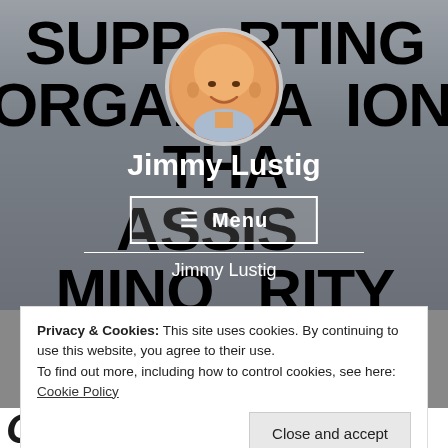[Figure (screenshot): Website screenshot showing hero section with large bold text 'SUPPORTING ORGANIZATIONS THAT ASSIST MINORITY FOUNDERS OF STARTU' overlaid on a gray background with a person writing on a whiteboard. A circular profile photo of Jimmy Lustig appears at top center. Below is a navigation menu button and site name.]
Jimmy Lustig
☰  Menu
Jimmy Lustig
Privacy & Cookies: This site uses cookies. By continuing to use this website, you agree to their use.
To find out more, including how to control cookies, see here: Cookie Policy
Close and accept
Organizations That